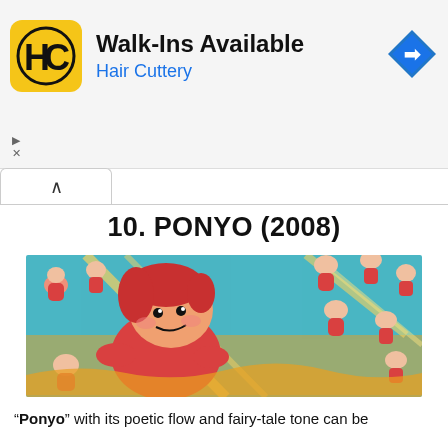[Figure (infographic): Hair Cuttery advertisement banner. Yellow square logo with HC letters, text 'Walk-Ins Available' in bold black and 'Hair Cuttery' in blue. Blue navigation/maps diamond icon on right.]
10. PONYO (2008)
[Figure (photo): Anime still from Ponyo (2008) showing Ponyo, a girl with red hair wearing red dress, surrounded by many small pink fish/sister figures, with golden light streaks, against a teal ocean background.]
“Ponyo” with its poetic flow and fairy-tale tone can be